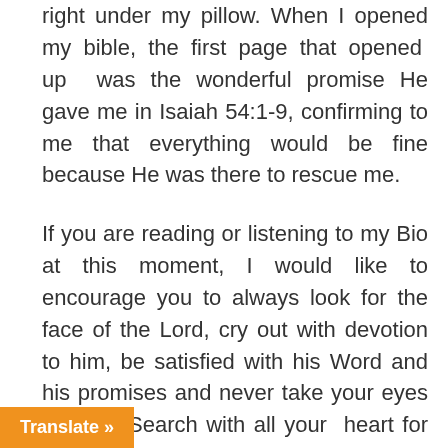right under my pillow. When I opened my bible, the first page that opened up was the wonderful promise He gave me in Isaiah 54:1-9, confirming to me that everything would be fine because He was there to rescue me.
If you are reading or listening to my Bio at this moment, I would like to encourage you to always look for the face of the Lord, cry out with devotion to him, be satisfied with his Word and his promises and never take your eyes off Him. Search with all your heart for your Heavenly nd give yourself the